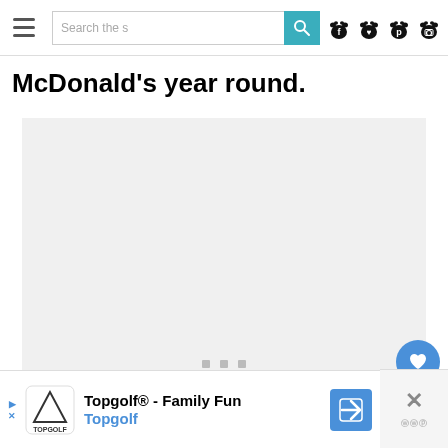Search the site | [nav icons]
McDonald's year round.
[Figure (other): Large image placeholder area (gray background with loading dots indicator)]
Topgolf® - Family Fun
Topgolf